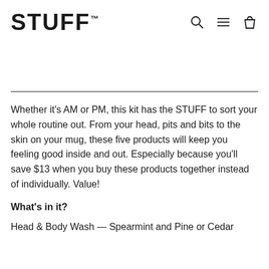STUFF™
Whether it's AM or PM, this kit has the STUFF to sort your whole routine out. From your head, pits and bits to the skin on your mug, these five products will keep you feeling good inside and out. Especially because you'll save $13 when you buy these products together instead of individually. Value!
What's in it?
Head & Body Wash — Spearmint and Pine or Cedar and Spice (450 ml)